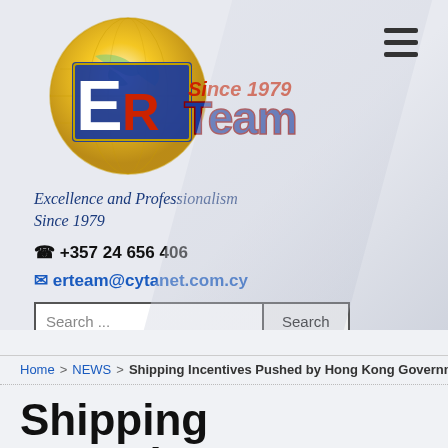[Figure (logo): ER Team logo with golden globe, blue ER letters, red 'Team' text, and 'Since 1979' tagline]
Excellence and Professionalism Since 1979
☎ +357 24 656 406
✉ erteam@cytanet.com.cy
Home > NEWS > Shipping Incentives Pushed by Hong Kong Government
Shipping Incentives